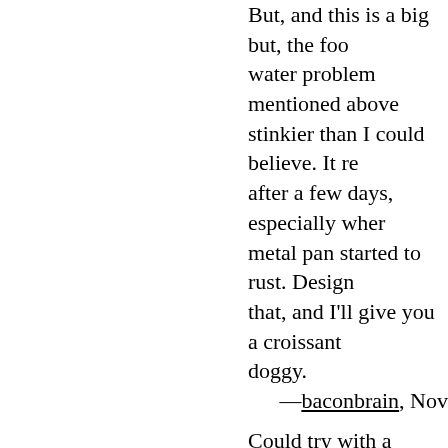But, and this is a big but, the foo water problem mentioned above stinkier than I could believe. It re after a few days, especially wher metal pan started to rust. Design that, and I'll give you a croissant doggy.
—baconbrain, Nov
Could try with a dinner plate.
—jmvw, Nov 05 2006
Oooh a bowl with a half tube tha the way aroung about the mid se the bowl, deep ehough and broa enough for a good amount of wa then a inverted half tube that is s wider than the first, it hangs over water-filled one and shields it fro dropping in.
—PollyNo9, Nov
//Oooh a bowl with a half tube tha all the way ...// A good thought, a normal dog would chew that apa
—Chefboyrbored, Nov
//D...